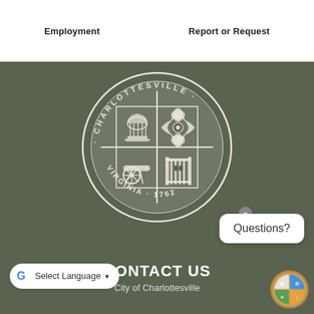Employment    Report or Request
[Figure (logo): City of Charlottesville, Virginia seal — circular seal with four quadrants showing a domed building (Rotunda), a dogwood flower, a cannon, and an iron gate, text reading CHARLOTTESVILLE VIRGINIA 1762]
Questions?
CONTACT US
City of Charlottesville
[Figure (logo): Small colorful City of Charlottesville seal with four colored quadrants — blue (building), white (flower), orange (cannon), green (gate)]